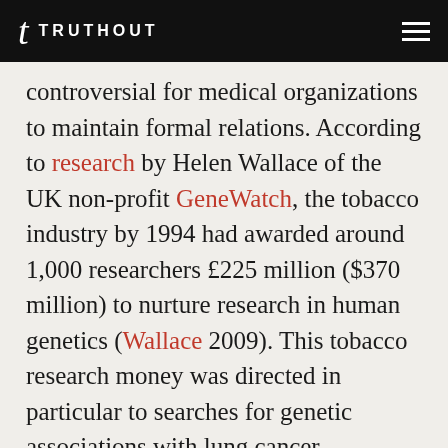TRUTHOUT
controversial for medical organizations to maintain formal relations. According to research by Helen Wallace of the UK non-profit GeneWatch, the tobacco industry by 1994 had awarded around 1,000 researchers £225 million ($370 million) to nurture research in human genetics (Wallace 2009). This tobacco research money was directed in particular to searches for genetic associations with lung cancer.
As early as 1965, this strategy was sowing uncertainty about the causes of lung cancer. As